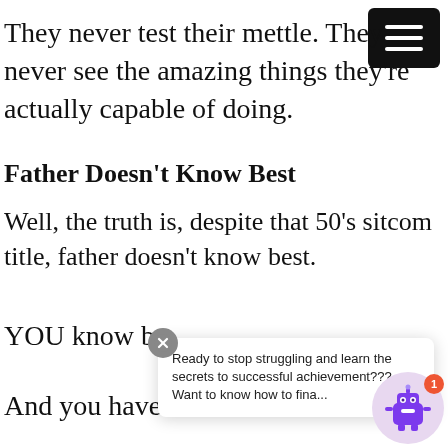They never test their mettle. They never see the amazing things they're actually capable of doing.
Father Doesn't Know Best
Well, the truth is, despite that 50's sitcom title, father doesn't know best.
YOU know b
And you have
[Figure (screenshot): Hamburger menu icon (black rectangle with three white horizontal lines) in top right corner]
[Figure (screenshot): Chat popup overlay with close button (grey circle with X) and robot chatbot icon with red badge showing '1'. Popup text reads: Ready to stop struggling and learn the secrets to successful achievement??? Want to know how to fina...]